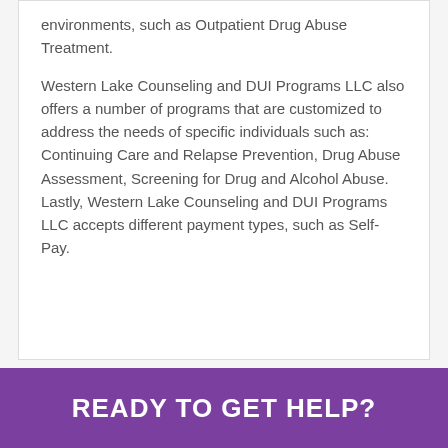environments, such as Outpatient Drug Abuse Treatment.
Western Lake Counseling and DUI Programs LLC also offers a number of programs that are customized to address the needs of specific individuals such as: Continuing Care and Relapse Prevention, Drug Abuse Assessment, Screening for Drug and Alcohol Abuse. Lastly, Western Lake Counseling and DUI Programs LLC accepts different payment types, such as Self-Pay.
READY TO GET HELP?